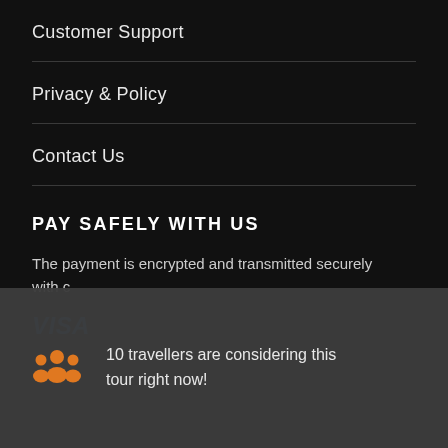Customer Support
Privacy & Policy
Contact Us
PAY SAFELY WITH US
The payment is encrypted and transmitted securely with c
VISA
10 travellers are considering this tour right now!